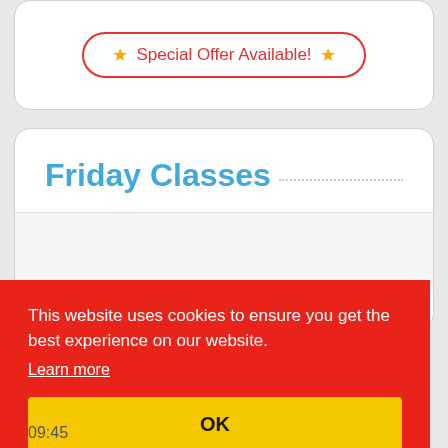⭐ Special Offer Available! ⭐
Friday Classes
This website uses cookies to ensure you get the best experience on our website.
Learn more
OK
09:45